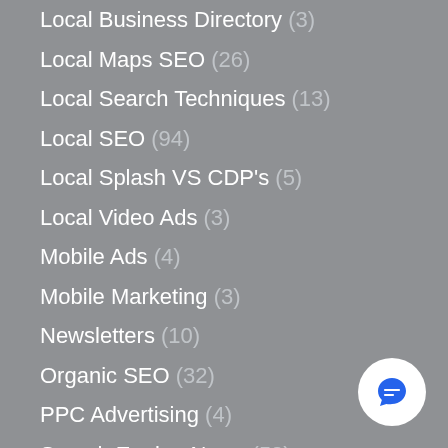Local Business Directory (3)
Local Maps SEO (26)
Local Search Techniques (13)
Local SEO (94)
Local Splash VS CDP's (5)
Local Video Ads (3)
Mobile Ads (4)
Mobile Marketing (3)
Newsletters (10)
Organic SEO (32)
PPC Advertising (4)
Search Engine News (52)
SEM Best Practices (9)
SEO News (15)
Social Media Marketing (38)